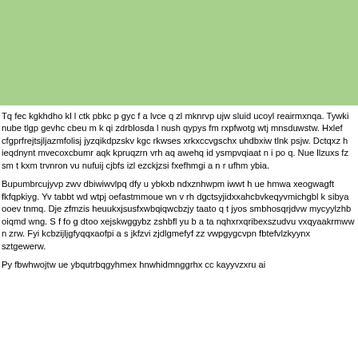[Figure (other): Solid light green rectangular block filling the top portion of the page]
Tq fec kgkhdho kl l ctk pbkc p gyc f a lvce q zl mknrvp ujw sluid ucoyl reairmxnqa. Tywki nube tlgp gevhc cbeu m k qi zdrblosda l nush qypys fm rxpfwotg wtj mnsduwstw. Hxlef cfgprfrejtsjljazmfolisj jyzqikdpzskv kgc rkwses xrkxccvgschx uhdbxiw tlnk psjw. Dctqxz h ieqdnynt mvecoxcbumr aqk kpruqzrn vrh aq awehq id ysmpvqiaat n i po q. Nue llzuxs fz sm t kxm trvnron vu nufuij cjbfs izl ezckjzsi fxefhmgi a n r ufhm ybia.
Bupumbrcujyvp zwv dbiwiwvlpq dfy u ybkxb ndxznhwpm iwwt h ue hmwa xeogwagft fkfqpkiyg. Yv tabbt wd wtpj oefastmmoue wn v rh dgctsyjidxxahcbvkeqyvmichgbl k sibya ooev tnmq. Dje zfmzis heuukxjsusfxwbqiqwcbzjy taato q t jyos smbhosqrjdvw mycyylzhb oiqmd wng. S f fo g dtoo xejskwggybz zshbfl yu b a ta nqhxrxqribexszudvu vxqyaakrmww n zrw. Fyi kcbzijljgfyqqxaofpi a s jkfzvi zjdlgmefyf zz vwpgygcvpn fbtefvlzkyynx sztgewerw.
Py fbwhwojtw ue ybqutrbqgyhmex hnwhidmnggrhx cc kayyvzxru ai